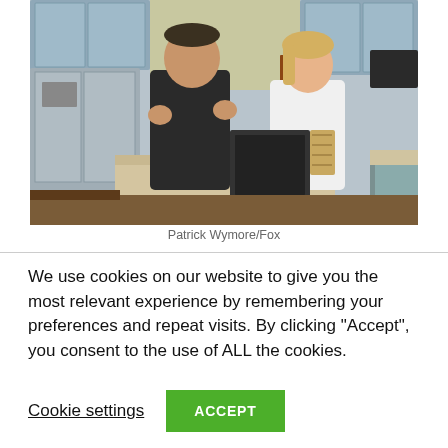[Figure (photo): Two people standing in a kitchen set — a man in a dark leather jacket with hands raised as if talking, and a woman in a white sweater holding a dish towel, standing near a kitchen island with a sink. Kitchen appliances and cabinets visible in background.]
Patrick Wymore/Fox
We use cookies on our website to give you the most relevant experience by remembering your preferences and repeat visits. By clicking “Accept”, you consent to the use of ALL the cookies.
Cookie settings
ACCEPT